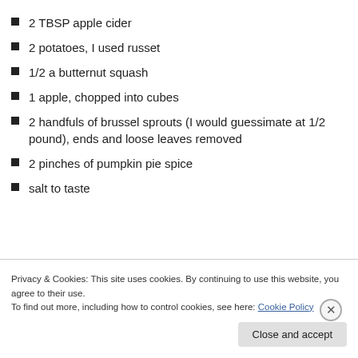2 TBSP apple cider
2 potatoes, I used russet
1/2 a butternut squash
1 apple, chopped into cubes
2 handfuls of brussel sprouts (I would guessimate at 1/2 pound), ends and loose leaves removed
2 pinches of pumpkin pie spice
salt to taste
Privacy & Cookies: This site uses cookies. By continuing to use this website, you agree to their use.
To find out more, including how to control cookies, see here: Cookie Policy
Close and accept